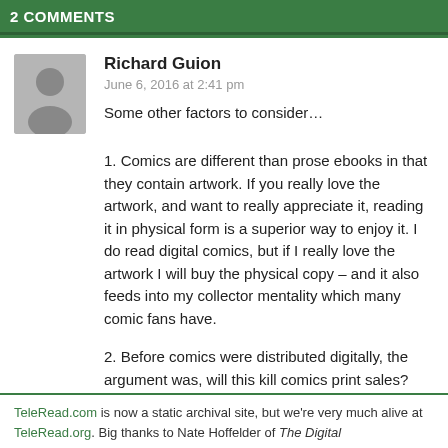2 COMMENTS
Richard Guion
June 6, 2016 at 2:41 pm
Some other factors to consider…
1. Comics are different than prose ebooks in that they contain artwork. If you really love the artwork, and want to really appreciate it, reading it in physical form is a superior way to enjoy it. I do read digital comics, but if I really love the artwork I will buy the physical copy – and it also feeds into my collector mentality which many comic fans have.
2. Before comics were distributed digitally, the argument was, will this kill comics print sales? Many argued that it will not do that and it would only increase – because MORE people will be exposed to it and want to buy them. I think the latter point has been proven true. Comics fans
TeleRead.com is now a static archival site, but we're very much alive at TeleRead.org. Big thanks to Nate Hoffelder of The Digital…